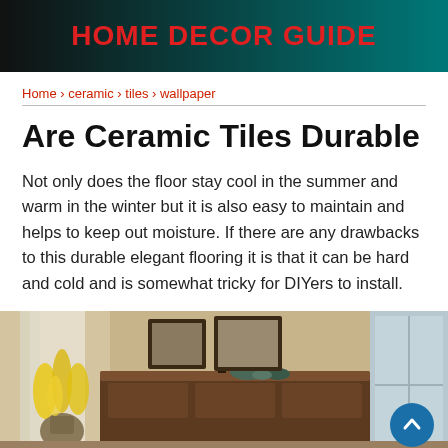HOME DECOR GUIDE
Home › ceramic › tiles › wallpaper
Are Ceramic Tiles Durable
Not only does the floor stay cool in the summer and warm in the winter but it is also easy to maintain and helps to keep out moisture. If there are any drawbacks to this durable elegant flooring it is that it can be hard and cold and is somewhat tricky for DIYers to install.
[Figure (photo): Interior room photo showing a wooden dresser/cabinet with framed pictures on the wall above it, decorative bowls, a vase with yellow flowers near a curtained window, and a mirror visible on the right.]